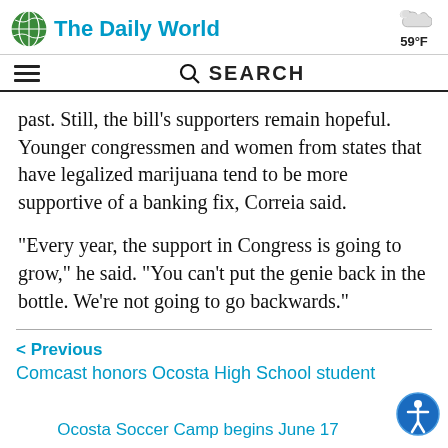The Daily World
past. Still, the bill's supporters remain hopeful. Younger congressmen and women from states that have legalized marijuana tend to be more supportive of a banking fix, Correia said.
“Every year, the support in Congress is going to grow,” he said. “You can’t put the genie back in the bottle. We’re not going to go backwards.”
< Previous
Comcast honors Ocosta High School student
Ocosta Soccer Camp begins June 17